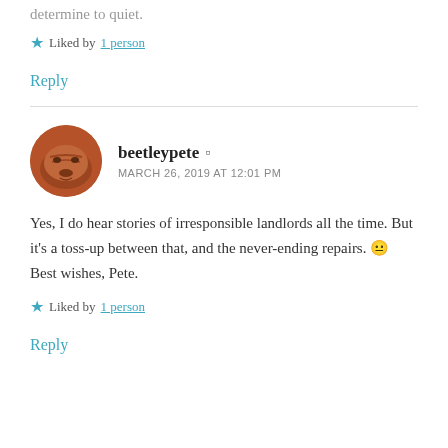…determine to quiet.
★ Liked by 1 person
Reply
beetleypete  ▲  MARCH 26, 2019 AT 12:01 PM
Yes, I do hear stories of irresponsible landlords all the time. But it's a toss-up between that, and the never-ending repairs. 😐
Best wishes, Pete.
★ Liked by 1 person
Reply